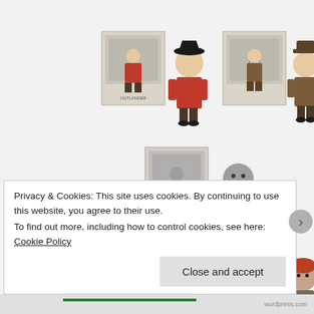[Figure (photo): Six Funko Pop vinyl figures from Outlander TV series arranged in three rows of two pairs each. Each pair shows a boxed figure next to an unboxed figure. Top row: a character in a red colonial coat with tricorn hat, and a character in brown suit with fedora hat. Middle row: a grey-toned character with beard. Bottom row: a female character in grey dress, and a male character with red hair.]
Privacy & Cookies: This site uses cookies. By continuing to use this website, you agree to their use.
To find out more, including how to control cookies, see here: Cookie Policy